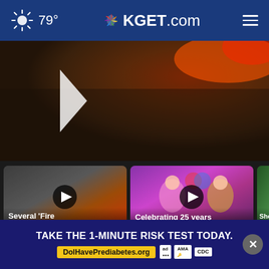79° KGET.com
[Figure (screenshot): Main video thumbnail showing fire/ember close-up with large play button]
[Figure (screenshot): Video card: 'Several Fire Tornadoes develop...' - 17 hours ago]
[Figure (screenshot): Video card: 'Celebrating 25 years' - 11 hours ago]
[Figure (screenshot): Video card: 'Shots taken' - partially visible]
More Videos
TAKE THE 1-MINUTE RISK TEST TODAY. DolHavePrediabetes.org